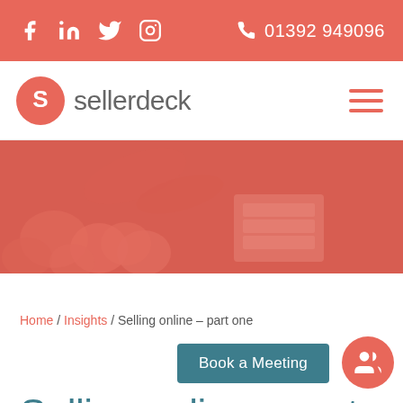Social icons: Facebook, LinkedIn, Twitter, Instagram | Phone: 01392 949096
[Figure (logo): Sellerdeck logo with orange circle S icon and grey text 'sellerdeck', plus hamburger menu icon]
[Figure (photo): Reddish-orange tinted hero banner image showing hands picking fruit (oranges/tomatoes) at a market stall with crates]
Home / Insights / Selling online – part one
Book a Meeting
Selling online – part